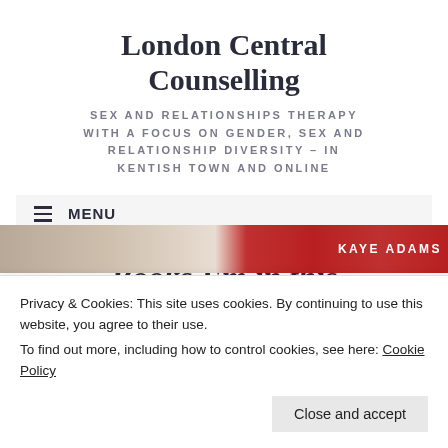London Central Counselling
SEX AND RELATIONSHIPS THERAPY WITH A FOCUS ON GENDER, SEX AND RELATIONSHIP DIVERSITY – IN KENTISH TOWN AND ONLINE
MENU
Books I'm in this
Privacy & Cookies: This site uses cookies. By continuing to use this website, you agree to their use.
To find out more, including how to control cookies, see here: Cookie Policy
Close and accept